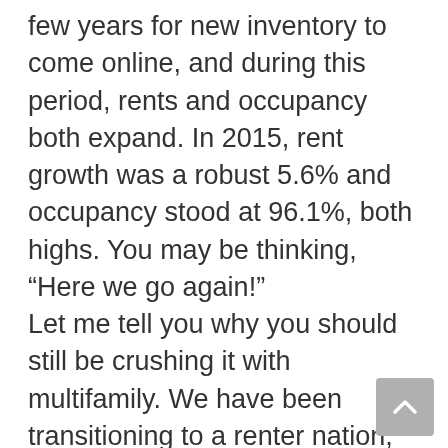few years for new inventory to come online, and during this period, rents and occupancy both expand. In 2015, rent growth was a robust 5.6% and occupancy stood at 96.1%, both highs. You may be thinking, “Here we go again!” Let me tell you why you should still be crushing it with multifamily. We have been transitioning to a renter nation, with the aid of a shift in demographics and the Great Recession. Homebuyers are still feeling the ill effects of purchasing a home and getting hammered. There is no guarantee that buying a home and holding on for the long term will produce any gains. The